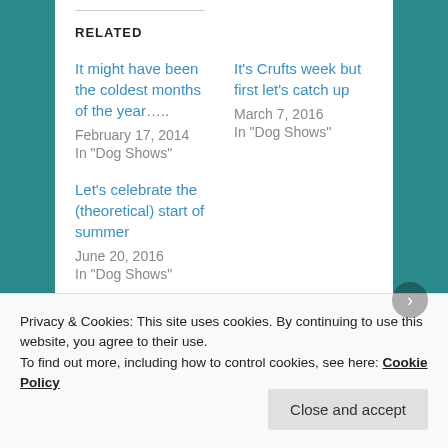RELATED
It might have been the coldest months of the year…..
February 17, 2014
In "Dog Shows"
It's Crufts week but first let's catch up
March 7, 2016
In "Dog Shows"
Let's celebrate the (theoretical) start of summer
June 20, 2016
In "Dog Shows"
Privacy & Cookies: This site uses cookies. By continuing to use this website, you agree to their use.
To find out more, including how to control cookies, see here: Cookie Policy